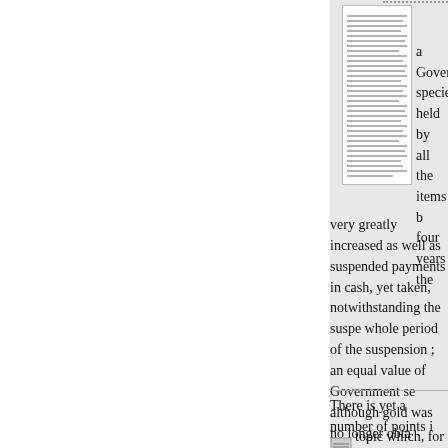[Figure (illustration): Small thumbnail of a document page showing dense text columns]
a Government specie held by all the items b four years the very greatly increased as well as suspended payments in cash, yet taken, notwithstanding the suspe whole period of the suspension ; an equal value of Government se although gold was no longer obta currency was maintained at par, c their ultimate realization in the fo of the law, a priority and prefere and that, as it seems, independen what are there termed “Subscript shareholders' liability being, it se limited to the amount of their sha history of this remarkable panic r question in this country of how f be obliged to deposit with the go
There is yet a number of points i
topic which, for the present